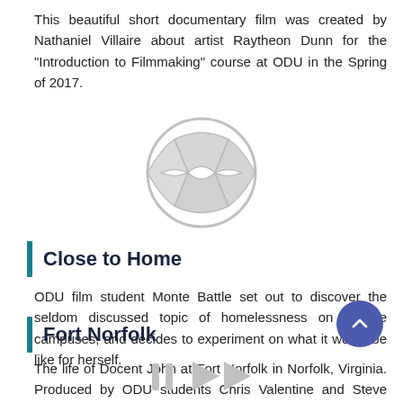This beautiful short documentary film was created by Nathaniel Villaire about artist Raytheon Dunn for the "Introduction to Filmmaking" course at ODU in the Spring of 2017.
[Figure (other): Video play button icon — circular overlapping shapes with a play arrow, gray tones]
Close to Home
ODU film student Monte Battle set out to discover the seldom discussed topic of homelessness on college campuses, and decides to experiment on what it would be like for herself.
Fort Norfolk
The life of Docent John at Fort Norfolk in Norfolk, Virginia. Produced by ODU students Chris Valentine and Steve Forrest during Summer 2019 in their Introduction to Filmmaking course.
[Figure (other): Partial video player controls icon at bottom of page, gray tones]